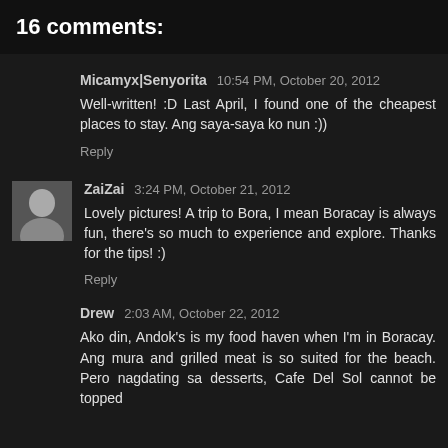16 comments:
Micamyx|Senyorita 10:54 PM, October 20, 2012
Well-written! :D Last April, I found one of the cheapest places to stay. Ang saya-saya ko nun :))
Reply
ZaiZai 3:24 PM, October 21, 2012
Lovely pictures! A trip to Bora, I mean Boracay is always fun, there's so much to experience and explore. Thanks for the tips! :)
Reply
Drew 2:03 AM, October 22, 2012
Ako din, Andok's is my food haven when I'm in Boracay. Ang mura and grilled meat is so suited for the beach. Pero nagdating sa desserts, Cafe Del Sol cannot be topped